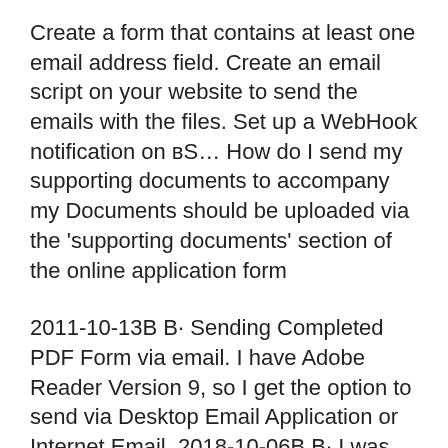Create a form that contains at least one email address field. Create an email script on your website to send the emails with the files. Set up a WebHook notification on в„¦ How do I send my supporting documents to accompany my Documents should be uploaded via the 'supporting documents' section of the online application form
2011-10-13В В· Sending Completed PDF Form via email. I have Adobe Reader Version 9, so I get the option to send via Desktop Email Application or Internet Email. 2018-10-06В В· I was sent an attachment to my email that is an application that I need to fill out and send back. I downloaded the application